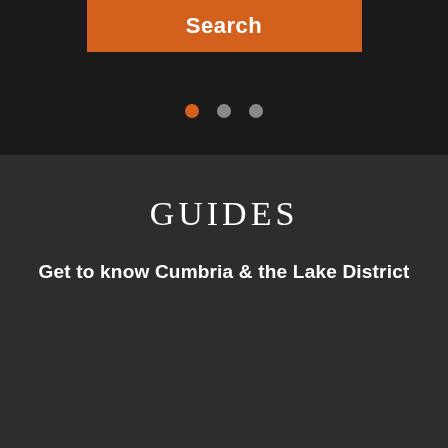[Figure (screenshot): Orange Search button on dark background with carousel dots indicator below]
GUIDES
Get to know Cumbria & the Lake District